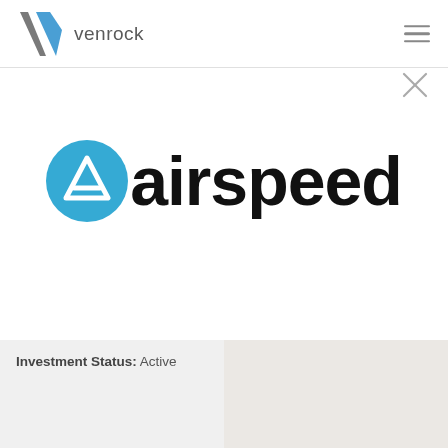venrock
[Figure (logo): Airspeed company logo: a teal/blue circle with a white chevron/upward arrow mark, followed by the bold black text 'airspeed']
Investment Status: Active